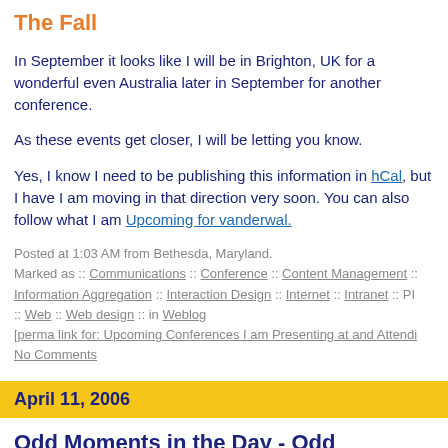The Fall
In September it looks like I will be in Brighton, UK for a wonderful even Australia later in September for another conference.
As these events get closer, I will be letting you know.
Yes, I know I need to be publishing this information in hCal, but I have I am moving in that direction very soon. You can also follow what I am Upcoming for vanderwal.
Posted at 1:03 AM from Bethesda, Maryland.
Marked as :: Communications :: Conference :: Content Management :: Information Aggregation :: Interaction Design :: Internet :: Intranet :: PI :: Web :: Web design :: in Weblog
[perma link for: Upcoming Conferences I am Presenting at and Attendi
No Comments
April 11, 2006
Odd Moments in the Day - Odd Moments with Tech
Today brought an odd moment. I looked up at iChat (my IM interface) a